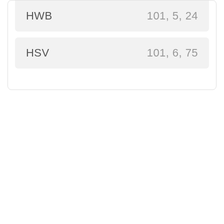| Color Space | Values |
| --- | --- |
| HWB | 101, 5, 24 |
| HSV | 101, 6, 75 |